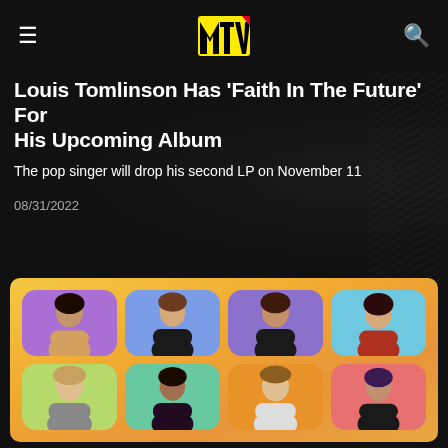MTV
Louis Tomlinson Has 'Faith In The Future' For His Upcoming Album
The pop singer will drop his second LP on November 11
08/31/2022
[Figure (photo): Promotional grid image showing 8 women in colorful portrait tiles on a warm yellow-orange gradient background, arranged in 2 rows of 4]